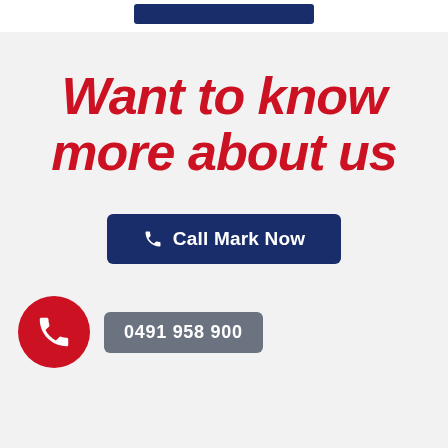[Figure (other): Dark navy blue button/banner at top of page]
Want to know more about us
Call Mark Now
0491 958 900